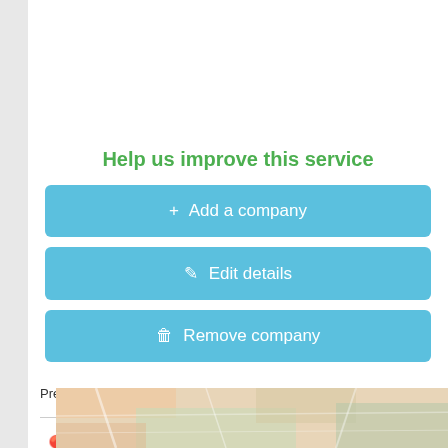Help us improve this service
+ Add a company
✎ Edit details
🗑 Remove company
Present for more than 6 months Is the data not correct? Edit them! ›
📍 Great Height Trade Line Ltd. en Mumbai address, map and road map
[Figure (map): Blurred map preview image showing Mumbai area]